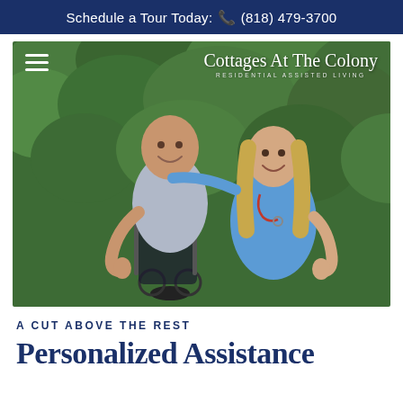Schedule a Tour Today: 📞 (818) 479-3700
[Figure (photo): An elderly man in a wheelchair and a young female nurse/caregiver in blue scrubs, both smiling and giving thumbs up, posed in front of green hedges. Logo overlay: Cottages At The Colony - Residential Assisted Living. Hamburger menu icon top left.]
A CUT ABOVE THE REST
Personalized Assistance